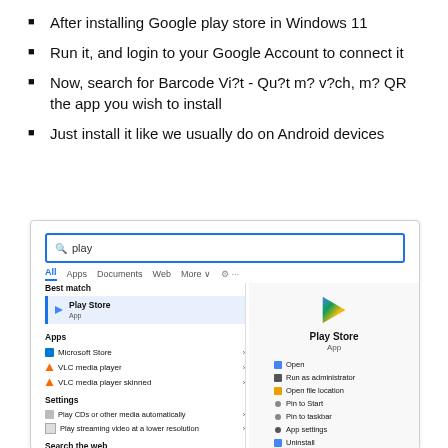After installing Google play store in Windows 11
Run it, and login to your Google Account to connect it
Now, search for Barcode Vi?t - Qu?t m? v?ch, m? QR the app you wish to install
Just install it like we usually do on Android devices
[Figure (screenshot): Windows 11 search results showing Play Store in search bar with 'play' typed. Left panel shows Best match: Play Store App, Apps section: Microsoft Store, VLC media player, VLC media player skinned, Settings: Play CDs or other media automatically, Play streaming video at a lower resolution, Search the web. Right panel shows Google Play Store icon (colorful triangle), Play Store label, App type, and context menu options: Open, Run as administrator, Open file location, Pin to Start, Pin to taskbar, App settings, Uninstall.]